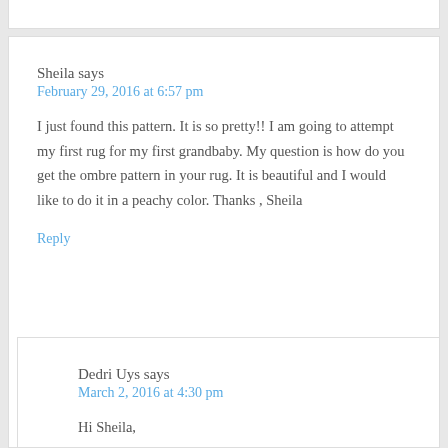Sheila says
February 29, 2016 at 6:57 pm
I just found this pattern. It is so pretty!! I am going to attempt my first rug for my first grandbaby. My question is how do you get the ombre pattern in your rug. It is beautiful and I would like to do it in a peachy color. Thanks , Sheila
Reply
Dedri Uys says
March 2, 2016 at 4:30 pm
Hi Sheila,